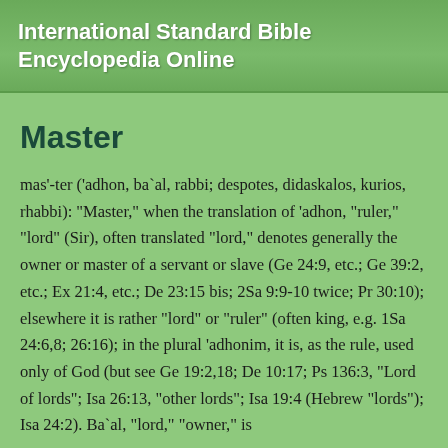International Standard Bible Encyclopedia Online
Master
mas'-ter ('adhon, ba`al, rabbi; despotes, didaskalos, kurios, rhabbi): "Master," when the translation of 'adhon, "ruler," "lord" (Sir), often translated "lord," denotes generally the owner or master of a servant or slave (Ge 24:9, etc.; Ge 39:2, etc.; Ex 21:4, etc.; De 23:15 bis; 2Sa 9:9-10 twice; Pr 30:10); elsewhere it is rather "lord" or "ruler" (often king, e.g. 1Sa 24:6,8; 26:16); in the plural 'adhonim, it is, as the rule, used only of God (but see Ge 19:2,18; De 10:17; Ps 136:3, "Lord of lords"; Isa 26:13, "other lords"; Isa 19:4 (Hebrew "lords"); Isa 24:2). Ba`al, "lord," "owner," is